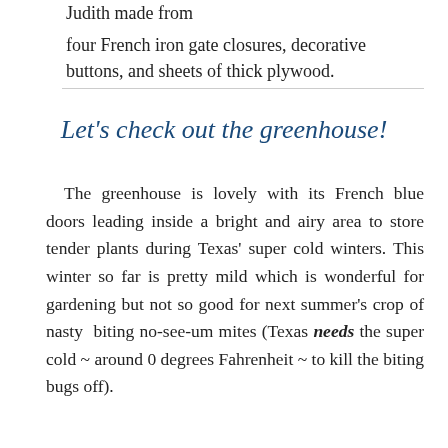Judith made from
four French iron gate closures, decorative buttons, and sheets of thick plywood.
Let's check out the greenhouse!
The greenhouse is lovely with its French blue doors leading inside a bright and airy area to store tender plants during Texas' super cold winters. This winter so far is pretty mild which is wonderful for gardening but not so good for next summer's crop of nasty biting no-see-um mites (Texas needs the super cold ~ around 0 degrees Fahrenheit ~ to kill the biting bugs off).